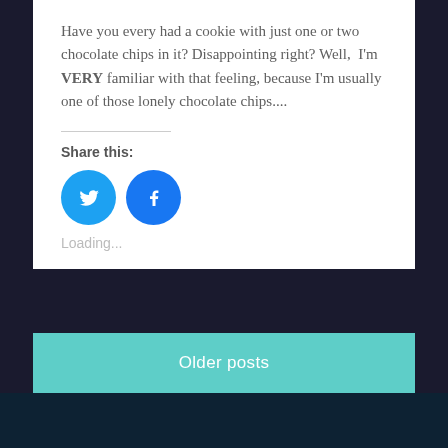Have you every had a cookie with just one or two chocolate chips in it? Disappointing right? Well, I'm VERY familiar with that feeling, because I'm usually one of those lonely chocolate chips....
Share this:
[Figure (illustration): Twitter and Facebook circular share buttons (blue circles with white bird and f icons)]
Loading...
February 24, 2018   6
Older posts